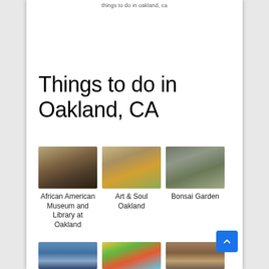Things to do in Oakland, CA
Things to do in Oakland, CA
[Figure (photo): Interior of African American Museum and Library at Oakland — arched ceiling hallway]
African American Museum and Library at Oakland
[Figure (photo): Art & Soul Oakland — colorful outdoor festival scene]
Art & Soul Oakland
[Figure (photo): Bonsai Garden — bonsai tree with stone figure]
Bonsai Garden
[Figure (photo): Dome observatory building at dusk]
[Figure (photo): Fairyland entrance arch with We're open sign]
[Figure (photo): Wooden log structure or timber feature]